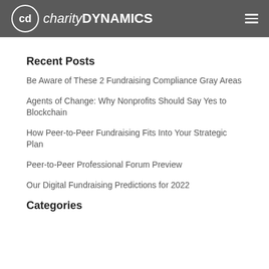charity DYNAMICS
Recent Posts
Be Aware of These 2 Fundraising Compliance Gray Areas
Agents of Change: Why Nonprofits Should Say Yes to Blockchain
How Peer-to-Peer Fundraising Fits Into Your Strategic Plan
Peer-to-Peer Professional Forum Preview
Our Digital Fundraising Predictions for 2022
Categories